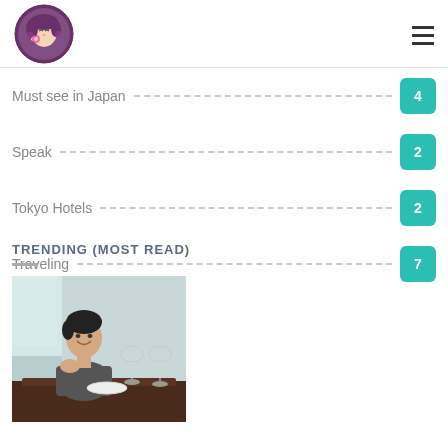Logo and navigation hamburger menu
Must see in Japan  4
Speak  2
Tokyo Hotels  2
Traveling  7
TRENDING (MOST READ)
[Figure (photo): A man sitting at a restaurant table, smiling, with wine glasses in front of him]